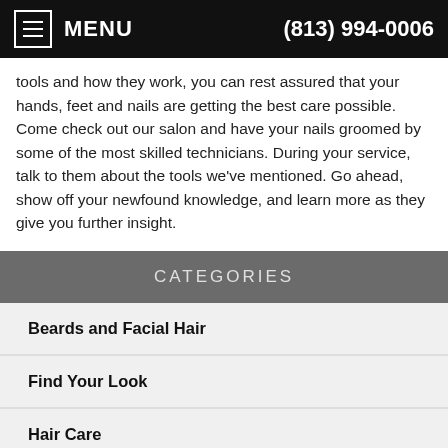MENU  (813) 994-0006
tools and how they work, you can rest assured that your hands, feet and nails are getting the best care possible. Come check out our salon and have your nails groomed by some of the most skilled technicians. During your service, talk to them about the tools we've mentioned. Go ahead, show off your newfound knowledge, and learn more as they give you further insight.
CATEGORIES
Beards and Facial Hair
Find Your Look
Hair Care
Manscaping